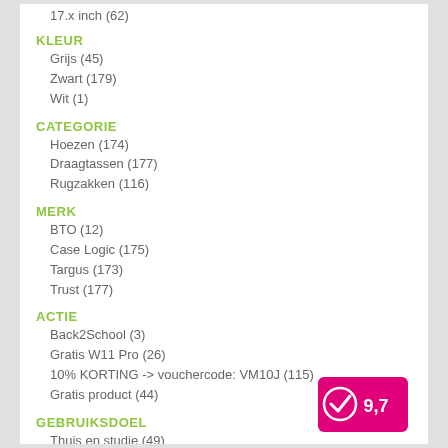17.x inch (62)
KLEUR
Grijs (45)
Zwart (179)
Wit (1)
CATEGORIE
Hoezen (174)
Draagtassen (177)
Rugzakken (116)
MERK
BTO (12)
Case Logic (175)
Targus (173)
Trust (177)
ACTIE
Back2School (3)
Gratis W11 Pro (26)
10% KORTING -> vouchercode: VM10J (115)
Gratis product (44)
GEBRUIKSDOEL
Thuis en studie (49)
[Figure (logo): Pink/magenta badge with checkmark icon and score 9,7]